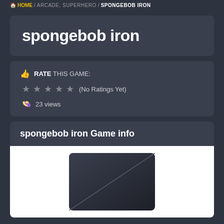HOME / ARCADE, SUPERHERO / SPONGEBOB IRON
spongebob iron
RATE THIS GAME: ★ ★ ★ ★ ★ (No Ratings Yet) 23 views
spongebob iron Game info
[Figure (screenshot): Dark rounded rectangle game thumbnail placeholder]